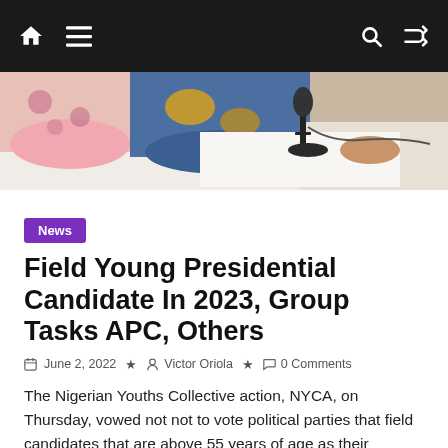Navigation bar with home, menu, search, and shuffle icons
[Figure (photo): A press conference scene showing people around a table with a microphone, wearing colorful clothing]
News
Field Young Presidential Candidate In 2023, Group Tasks APC, Others
June 2, 2022  Victor Oriola  0 Comments
The Nigerian Youths Collective action, NYCA, on Thursday, vowed not not to vote political parties that field candidates that are above 55 years of age as their Presidential candidates in 2023.Speaking at a press conference, the Southwest Coordinator,